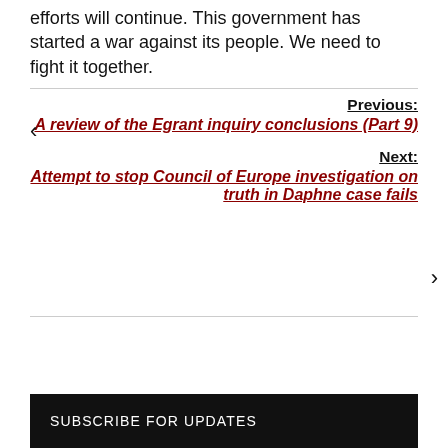efforts will continue. This government has started a war against its people. We need to fight it together.
Previous:
A review of the Egrant inquiry conclusions (Part 9)
Next:
Attempt to stop Council of Europe investigation on truth in Daphne case fails
SUBSCRIBE FOR UPDATES